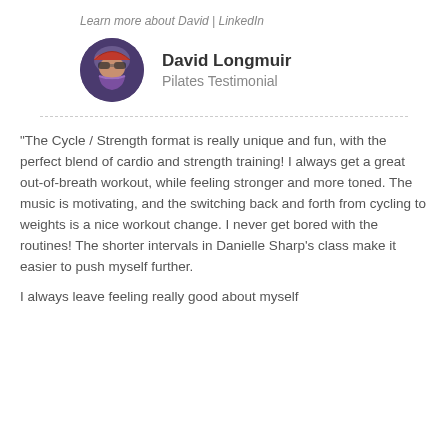Learn more about David | LinkedIn
David Longmuir
Pilates Testimonial
“The Cycle / Strength format is really unique and fun, with the perfect blend of cardio and strength training! I always get a great out-of-breath workout, while feeling stronger and more toned. The music is motivating, and the switching back and forth from cycling to weights is a nice workout change. I never get bored with the routines! The shorter intervals in Danielle Sharp's class make it easier to push myself further.
I always leave feeling really good about myself